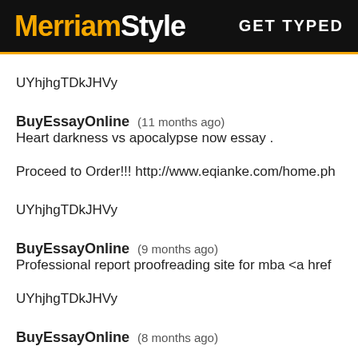MerriamStyle  GET TYPED
UYhjhgTDkJHVy
BuyEssayOnline  (11 months ago)
Heart darkness vs apocalypse now essay .
Proceed to Order!!! http://www.eqianke.com/home.ph
UYhjhgTDkJHVy
BuyEssayOnline  (9 months ago)
Professional report proofreading site for mba <a href
UYhjhgTDkJHVy
BuyEssayOnline  (8 months ago)